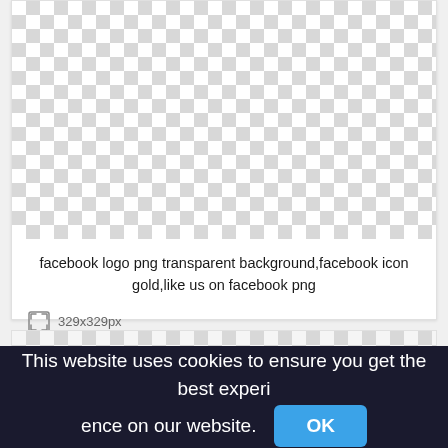[Figure (other): Checkerboard transparent background pattern representing a PNG image placeholder for facebook logo png transparent background, facebook icon gold, like us on facebook png]
facebook logo png transparent background,facebook icon gold,like us on facebook png
329x329px
This website uses cookies to ensure you get the best experience on our website.